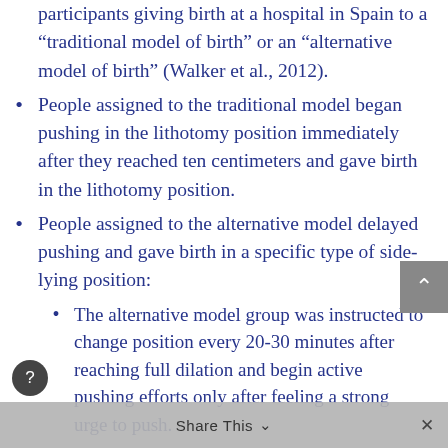participants giving birth at a hospital in Spain to a “traditional model of birth” or an “alternative model of birth” (Walker et al., 2012).
People assigned to the traditional model began pushing in the lithotomy position immediately after they reached ten centimeters and gave birth in the lithotomy position.
People assigned to the alternative model delayed pushing and gave birth in a specific type of side-lying position:
The alternative model group was instructed to change position every 20-30 minutes after reaching full dilation and begin active pushing efforts only after feeling a strong urge to push.
Hospital staff assisted them in moving into different positions like sitting, kneeling, side-lying, or hand-and-knees.